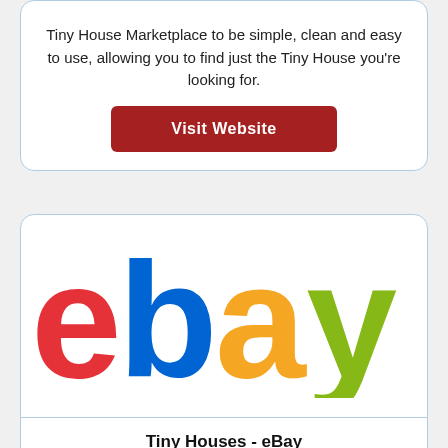Tiny House Marketplace to be simple, clean and easy to use, allowing you to find just the Tiny House you're looking for.
[Figure (other): Red 'Visit Website' button]
[Figure (logo): eBay logo with colorful letters: e in red, b in blue, a in yellow, y in green]
Tiny Houses - eBay